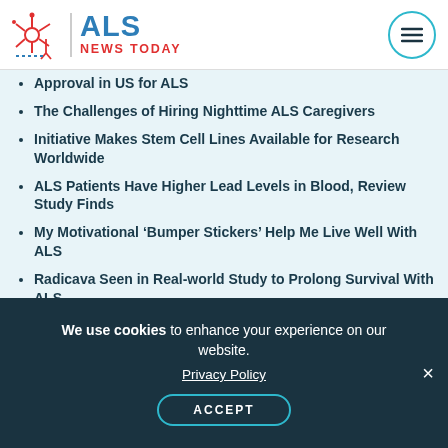ALS NEWS TODAY
Approval in US for ALS
The Challenges of Hiring Nighttime ALS Caregivers
Initiative Makes Stem Cell Lines Available for Research Worldwide
ALS Patients Have Higher Lead Levels in Blood, Review Study Finds
My Motivational ‘Bumper Stickers’ Help Me Live Well With ALS
Radicava Seen in Real-world Study to Prolong Survival With ALS
ALS Link With Specific STMN2 Gene
We use cookies to enhance your experience on our website. Privacy Policy ACCEPT